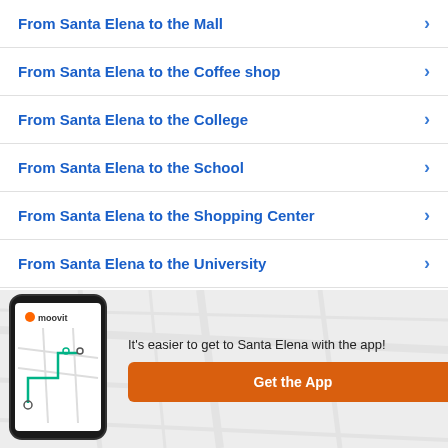From Santa Elena to the Mall
From Santa Elena to the Coffee shop
From Santa Elena to the College
From Santa Elena to the School
From Santa Elena to the Shopping Center
From Santa Elena to the University
Elena to the Airport
[Figure (screenshot): Moovit app banner with phone mockup showing map navigation, text 'It's easier to get to Santa Elena with the app!' and an orange 'Get the App' button]